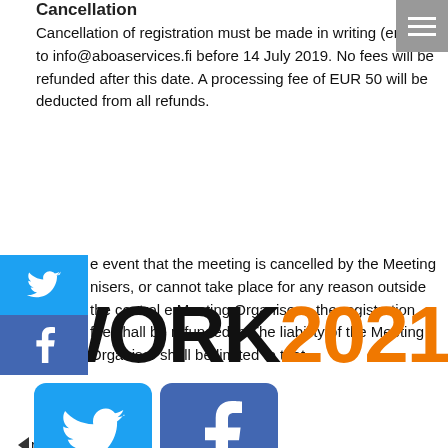Cancellation
Cancellation of registration must be made in writing (email) to info@aboaservices.fi before 14 July 2019. No fees will be refunded after this date. A processing fee of EUR 50 will be deducted from all refunds.
In the event that the meeting is cancelled by the Meeting Organisers, or cannot take place for any reason outside the control of the Meeting Organisers, the registration fee shall be refunded in full. The liability of the Meeting Organiser shall be limited to that refund.
[Figure (logo): WORK2021 logo with WORK in black bold and 2021 in orange bold, followed by Twitter and Facebook social media icon buttons below]